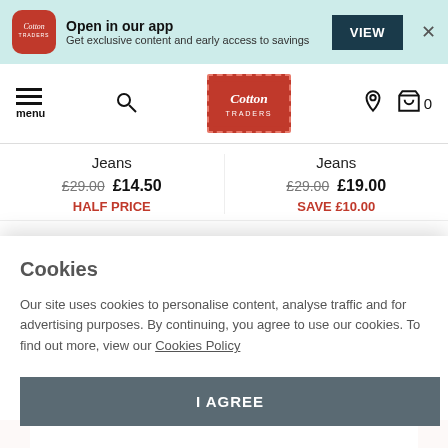[Figure (screenshot): Cotton Traders app promotional banner with icon, text 'Open in our app', 'Get exclusive content and early access to savings', VIEW button and close X]
[Figure (screenshot): Cotton Traders website navigation bar with hamburger menu, search icon, Cotton Traders logo, location pin and shopping bag icon with 0 items]
Jeans £29.00 £14.50 HALF PRICE
Jeans £29.00 £19.00 SAVE £10.00
Cookies
Our site uses cookies to personalise content, analyse traffic and for advertising purposes. By continuing, you agree to use our cookies. To find out more, view our Cookies Policy
I AGREE